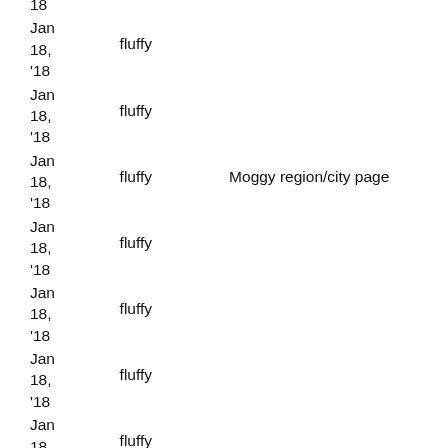| Date | Name | Description |
| --- | --- | --- |
| 18 |  |  |
| Jan
18,
'18 | fluffy |  |
| Jan
18,
'18 | fluffy |  |
| Jan
18,
'18 | fluffy | Moggy region/city page |
| Jan
18,
'18 | fluffy |  |
| Jan
18,
'18 | fluffy |  |
| Jan
18,
'18 | fluffy |  |
| Jan
18,
'18 | fluffy |  |
| Jan
18, | fluffy |  |